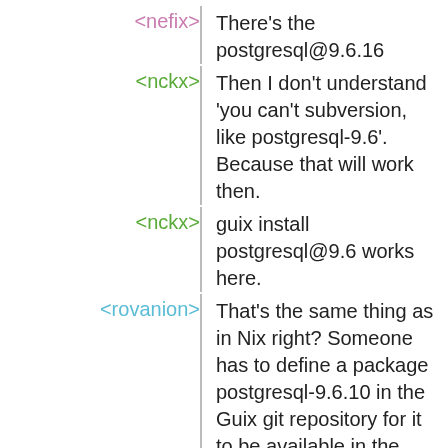<nefix> There's the postgresql@9.6.16
<nckx> Then I don't understand 'you can't subversion, like postgresql-9.6'. Because that will work then.
<nckx> guix install postgresql@9.6 works here.
<rovanion> That's the same thing as in Nix right? Someone has to define a package postgresql-9.6.10 in the Guix git repository for it to be available in the